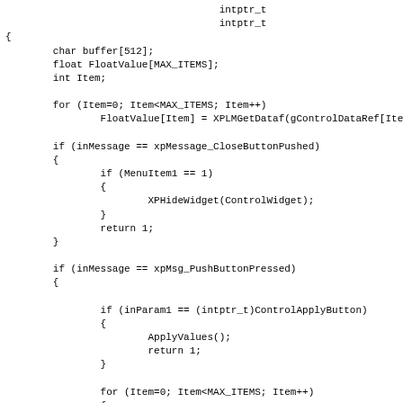Code fragment showing C/C++ plugin code with variable declarations, for loops, and conditional message handling including xpMessage_CloseButtonPushed and xpMsg_PushButtonPressed handlers.